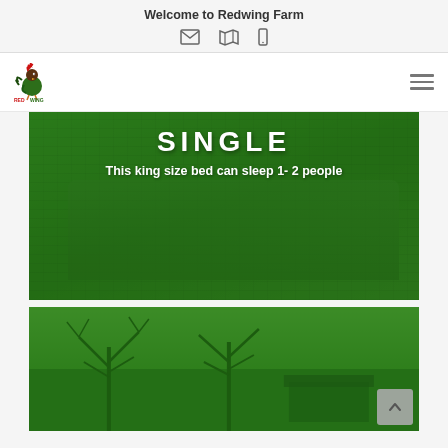Welcome to Redwing Farm
[Figure (logo): Redwing Farm rooster logo, small red and green bird illustration with text]
[Figure (photo): Green-overlaid bedroom photo with king size bed, text: SINGLE - This king size bed can sleep 1- 2 people]
[Figure (photo): Green-overlaid farm exterior photo with bare trees in winter]